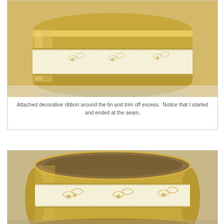[Figure (photo): Close-up photo of a gold decorative tin with a cream/gold patterned ribbon with holly leaf designs wrapped around it, showing the ribbon being attached at the seam.]
Attached decorative ribbon around the tin and trim off excess.  Notice that I started and ended at the seam.
[Figure (photo): Photo of a round gold tin with a textured brown/gold lid and a cream/gold holly-patterned ribbon wrapped around the body of the tin.]